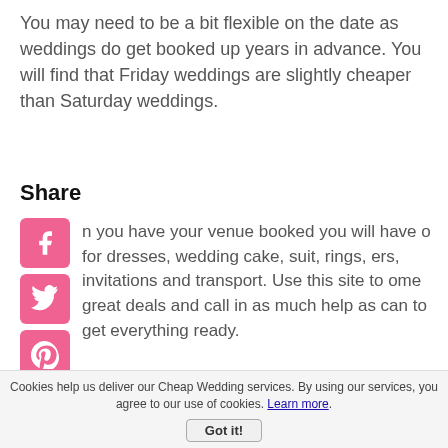You may need to be a bit flexible on the date as weddings do get booked up years in advance. You will find that Friday weddings are slightly cheaper than Saturday weddings.
Share
[Figure (other): Social media share buttons: Facebook, Twitter, Pinterest, Tumblr, Reddit, WhatsApp icons in pink/magenta]
n you have your venue booked you will have o for dresses, wedding cake, suit, rings, ers, invitations and transport. Use this site to ome great deals and call in as much help as can to get everything ready.
d luck!
Suz
Cookies help us deliver our Cheap Wedding services. By using our services, you agree to our use of cookies. Learn more. Got it!